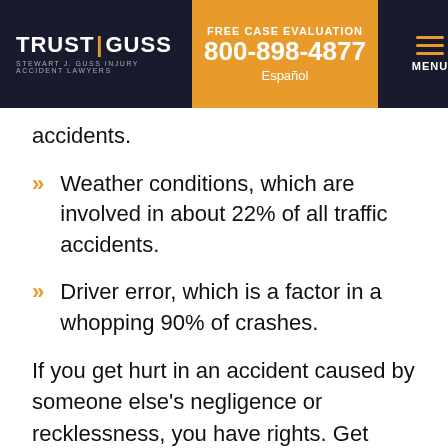TRUST | GUSS STEWART J. GUSS INJURY ACCIDENT LAWYERS | FREE CASE EVALUATION 800-898-4877 Español | MENU
accidents.
Weather conditions, which are involved in about 22% of all traffic accidents.
Driver error, which is a factor in a whopping 90% of crashes.
If you get hurt in an accident caused by someone else's negligence or recklessness, you have rights. Get informed about the legal options available to you. For example, a skilled lawyer